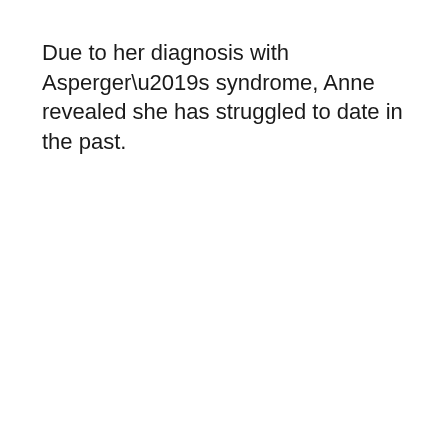Due to her diagnosis with Asperger’s syndrome, Anne revealed she has struggled to date in the past.